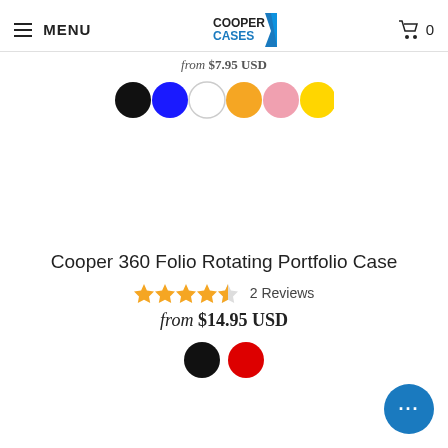MENU | Cooper Cases logo | Cart 0
from $7.95 USD
[Figure (other): Six color swatches: black, blue, white, orange, pink, yellow]
Cooper 360 Folio Rotating Portfolio Case
4.5 stars · 2 Reviews
from $14.95 USD
[Figure (other): Two color swatches: black, red]